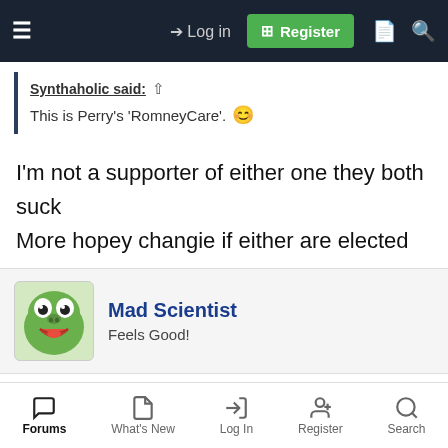Log in | Register
Synthaholic said: ↑
This is Perry's 'RomneyCare'. 🙂
I'm not a supporter of either one they both suck
More hopey changie if either are elected
Mad Scientist
Feels Good!
Sep 1, 2011  #6
What would you expect from a big government Liberal
Forums | What's New | Log In | Register | Search